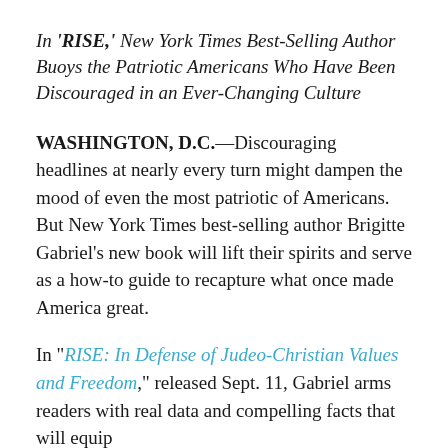In 'RISE,' New York Times Best-Selling Author Buoys the Patriotic Americans Who Have Been Discouraged in an Ever-Changing Culture
WASHINGTON, D.C.—Discouraging headlines at nearly every turn might dampen the mood of even the most patriotic of Americans. But New York Times best-selling author Brigitte Gabriel's new book will lift their spirits and serve as a how-to guide to recapture what once made America great.
In "RISE: In Defense of Judeo-Christian Values and Freedom," released Sept. 11, Gabriel arms readers with real data and compelling facts that will equip